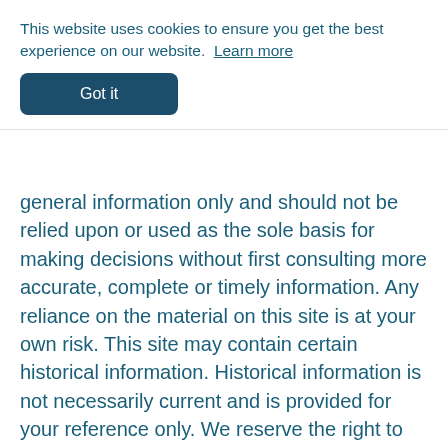This website uses cookies to ensure you get the best experience on our website. Learn more
Got it
general information only and should not be relied upon or used as the sole basis for making decisions without first consulting more accurate, complete or timely information. Any reliance on the material on this site is at your own risk. This site may contain certain historical information. Historical information is not necessarily current and is provided for your reference only. We reserve the right to modify the contents of this site at any time, but we have no obligation to update any information on our site. You agree that it is your responsibility to monitor changes to our site.